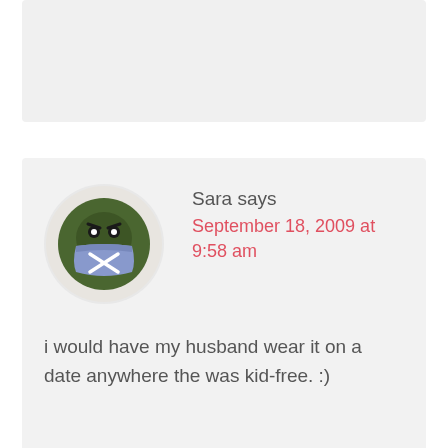[Figure (illustration): Top grey comment block, partially visible, cropped at top]
Sara says
September 18, 2009 at 9:58 am
[Figure (illustration): Sara avatar: cartoon character with dark green rounded head wearing a blue bandana/mask with white X, angry expression]
i would have my husband wear it on a date anywhere the was kid-free. :)
Lisa says
September 18, 2009 at
[Figure (illustration): Lisa avatar: partially visible, grey circle with green house/building icon and glasses]